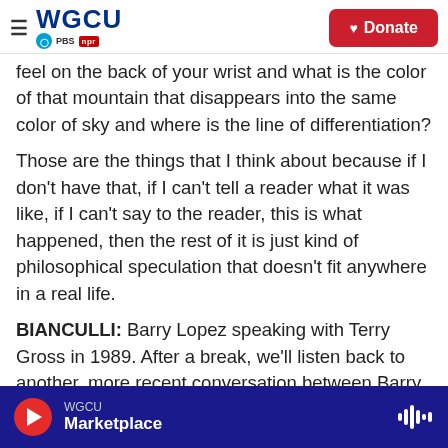WGCU PBS NPR — Donate
feel on the back of your wrist and what is the color of that mountain that disappears into the same color of sky and where is the line of differentiation?
Those are the things that I think about because if I don't have that, if I can't tell a reader what it was like, if I can't say to the reader, this is what happened, then the rest of it is just kind of philosophical speculation that doesn't fit anywhere in a real life.
BIANCULLI: Barry Lopez speaking with Terry Gross in 1989. After a break, we'll listen back to another, more recent conversation between Barry Lopez
WGCU — Marketplace